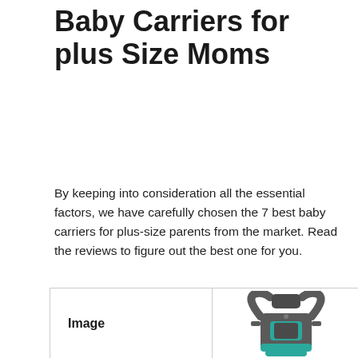Our Top Picks For 7 Best Baby Carriers for plus Size Moms
By keeping into consideration all the essential factors, we have carefully chosen the 7 best baby carriers for plus-size parents from the market. Read the reviews to figure out the best one for you.
[Figure (other): Product card showing a gray and teal baby carrier with shoulder straps, chest buckle, and bottom support, with an 'Image' label placeholder on the left side]